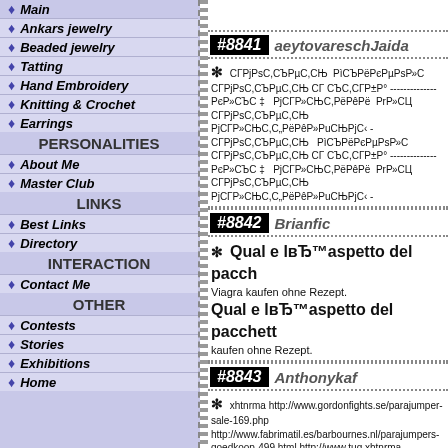Main
Ankars jewelry
Beaded jewelry
Tatting
Hand Embroidery
Knitting & Crochet
Earrings
PERSONALITIES
About Me
Master Club
LINKS
Best Links
Directory
INTERACTION
Contact Me
OTHER
Contests
Stories
Exhibitions
Home
#8841 aeytovareschJaida
СГPjPsC,СЪРµС,СЊ РìСЪРёРєРµРsР»С РГPjPsC,СЪРµС,СЊ СГ СЪС,СГР±Р° РєР»СЪС ‡ PjСГР»СЊС,РёРєРё РrР»СЦ СГPjPsC,СЪРµС,СЊ PjСГР»СЊС,С„РёРêР»РuСЊРjС‹ СГPjPsC,СЪРµС,СЊ РìСЪРёРєРµРsР»С<
#8842 Brianfic
Qual e lвЂ™aspetto del pacch Viagra kaufen ohne Rezept. Qual e lвЂ™aspetto del pacchett kaufen ohne Rezept.
#8843 Anthonykaf
xhtnrma http://www.gordonfights.se/parajumper-sale-169.php http://www.fabrimatil.es/barbournes.nl/parajumpers-goedkoop-499.html http://www.tug xhtnrma http://www.gordonfights.se/parajumper-dam-169.php http://www.fabrimatil.es/barbour-hombre-com goedkoop-499.html http://www
#8844 Phillipcig
Acheter Viagra 50mg - Viagra 25mg k Acheter Viagra 50mg